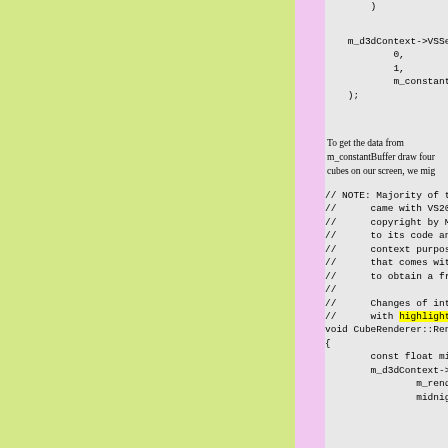[Figure (screenshot): Code editor screenshot showing C++ DirectX code with two panels: a green/pink left margin area and a gray code area on the right. The code shows m_d3dContext->VSSetConst call with arguments 0, 1, m_constantBuffer and a closing parenthesis. Then prose text about getting data from m_constantBuffer to draw four cubes. Then a comment block noting the code came with VS2012 Express with copyright by Microsoft, with changes highlighted. Then void CubeRenderer::Render() function beginning with const float midnightBlue and m_d3dContext->ClearRende calls. The word 'highlighting' is highlighted in yellow.]